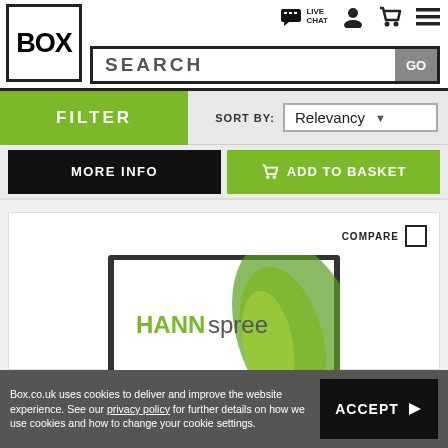[Figure (screenshot): Box.co.uk website header with BOX logo, LIVE CHAT icon, user icon, cart icon, hamburger menu, and SEARCH bar with GO button]
[Figure (screenshot): Filter and Sort By bar with green FILTER button and Relevancy dropdown]
[Figure (screenshot): MORE INFO black button and ADD TO BASKET green button with cart icon]
[Figure (screenshot): Product card with COMPARE checkbox and HANNspree monitor image]
Box.co.uk uses cookies to deliver and improve the website experience. See our privacy policy for further details on how we use cookies and how to change your cookie settings.
ACCEPT